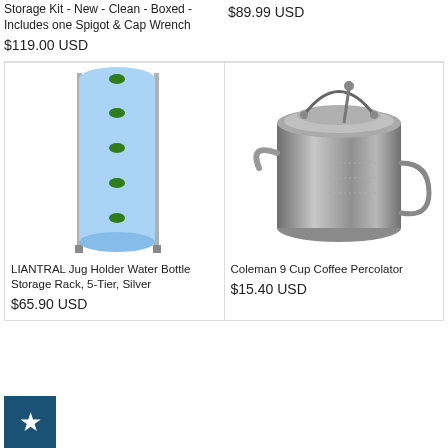Storage Kit - New - Clean - Boxed - Includes one Spigot & Cap Wrench
$119.00 USD
$89.99 USD
[Figure (photo): LIANTRAL Jug Holder Water Bottle Storage Rack, 5-Tier, Silver - metal rack holding 5 blue water jugs]
[Figure (photo): Coleman 9 Cup Coffee Percolator - stainless steel percolator with handle]
LIANTRAL Jug Holder Water Bottle Storage Rack, 5-Tier, Silver
$65.90 USD
Coleman 9 Cup Coffee Percolator
$15.40 USD